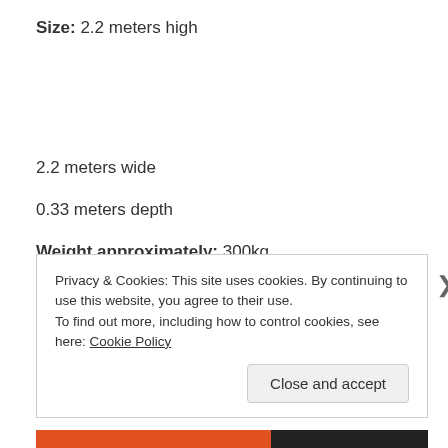Size: 2.2 meters high
2.2 meters wide
0.33 meters depth
Weight approximately: 300kg
Privacy & Cookies: This site uses cookies. By continuing to use this website, you agree to their use.
To find out more, including how to control cookies, see here: Cookie Policy
Close and accept